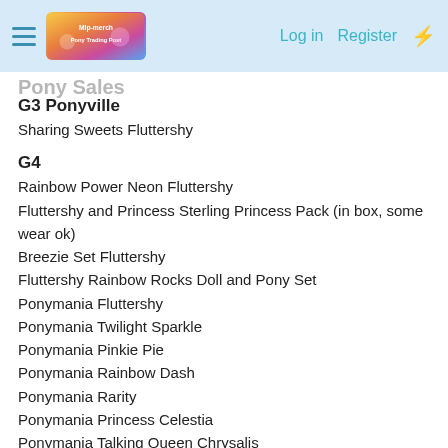Log in  Register
G3 Ponyville
Sharing Sweets Fluttershy
G4
Rainbow Power Neon Fluttershy
Fluttershy and Princess Sterling Princess Pack (in box, some wear ok)
Breezie Set Fluttershy
Fluttershy Rainbow Rocks Doll and Pony Set
Ponymania Fluttershy
Ponymania Twilight Sparkle
Ponymania Pinkie Pie
Ponymania Rainbow Dash
Ponymania Rarity
Ponymania Princess Celestia
Ponymania Talking Queen Chrysalis
Cutie Mark Magic Fluttershy
Water Cuties Pinkie Pie